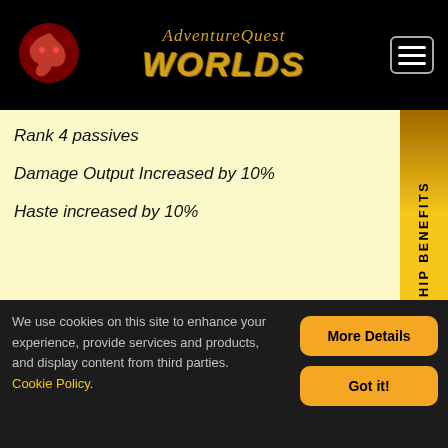AdventureQuest Worlds
Rank 4 passives
Damage Output Increased by 10%
Haste increased by 10%
You get the benefits of both the Fight AND Flight responses at the same time. Lucky you!
[Figure (illustration): A dark circular button with a white pill/tablet icon in the center]
STORE BRAND PAIN KILLER
We use cookies on this site to enhance your experience, provide services and products, and display content from third parties. Cookie Policy.